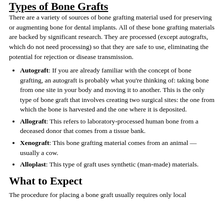Types of Bone Grafts
There are a variety of sources of bone grafting material used for preserving or augmenting bone for dental implants. All of these bone grafting materials are backed by significant research. They are processed (except autografts, which do not need processing) so that they are safe to use, eliminating the potential for rejection or disease transmission.
Autograft: If you are already familiar with the concept of bone grafting, an autograft is probably what you're thinking of: taking bone from one site in your body and moving it to another. This is the only type of bone graft that involves creating two surgical sites: the one from which the bone is harvested and the one where it is deposited.
Allograft: This refers to laboratory-processed human bone from a deceased donor that comes from a tissue bank.
Xenograft: This bone grafting material comes from an animal — usually a cow.
Alloplast: This type of graft uses synthetic (man-made) materials.
What to Expect
The procedure for placing a bone graft usually requires only local